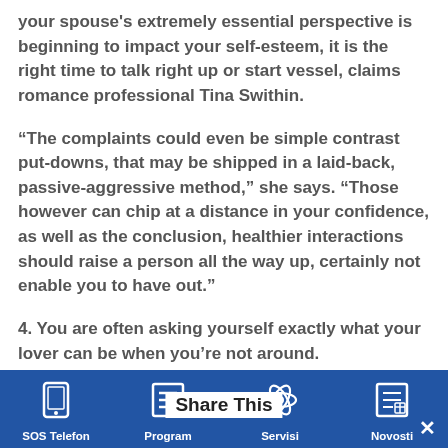your spouse's extremely essential perspective is beginning to impact your self-esteem, it is the right time to talk right up or start vessel, claims romance professional Tina Swithin.
“The complaints could even be simple contrast put-downs, that may be shipped in a laid-back, passive-aggressive method,” she says. “Those however can chip at a distance in your confidence, as well as the conclusion, healthier interactions should raise a person all the way up, certainly not enable you to have out.”
4. You are often asking yourself exactly what your lover can be when you’re not around.
Just what Elvis sang about doubtful brains is true: everyone S.O. are unable to last with each other if you have actually
SOS Telefon   Program   Share This   Servisi   Novosti